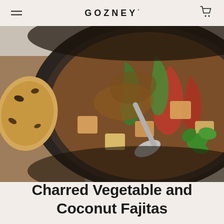GOZNEY°
[Figure (photo): Overhead close-up of a dark cast iron pan filled with charred vegetable and tofu fajita mix — sliced red and green peppers, onions, cubed tofu, and fresh cilantro with a spoon, alongside a piece of charred flatbread on a wooden board to the left.]
Charred Vegetable and Coconut Fajitas